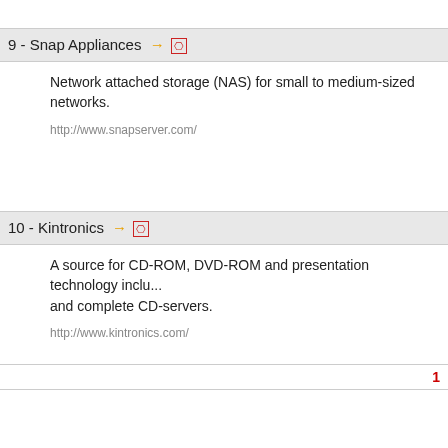9 - Snap Appliances
Network attached storage (NAS) for small to medium-sized networks.
http://www.snapserver.com/
10 - Kintronics
A source for CD-ROM, DVD-ROM and presentation technology including CD-towers and complete CD-servers.
http://www.kintronics.com/
1